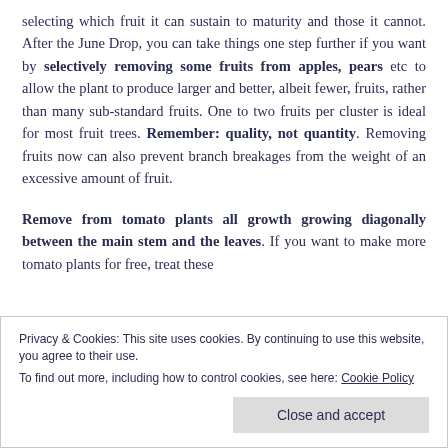selecting which fruit it can sustain to maturity and those it cannot. After the June Drop, you can take things one step further if you want by selectively removing some fruits from apples, pears etc to allow the plant to produce larger and better, albeit fewer, fruits, rather than many sub-standard fruits. One to two fruits per cluster is ideal for most fruit trees. Remember: quality, not quantity. Removing fruits now can also prevent branch breakages from the weight of an excessive amount of fruit.
Remove from tomato plants all growth growing diagonally between the main stem and the leaves. If you want to make more tomato plants for free, treat these
Privacy & Cookies: This site uses cookies. By continuing to use this website, you agree to their use.
To find out more, including how to control cookies, see here: Cookie Policy